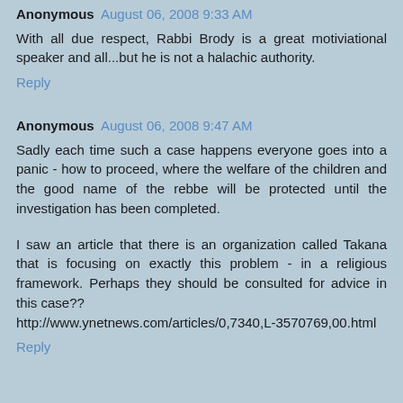Anonymous August 06, 2008 9:33 AM
With all due respect, Rabbi Brody is a great motiviational speaker and all...but he is not a halachic authority.
Reply
Anonymous August 06, 2008 9:47 AM
Sadly each time such a case happens everyone goes into a panic - how to proceed, where the welfare of the children and the good name of the rebbe will be protected until the investigation has been completed.
I saw an article that there is an organization called Takana that is focusing on exactly this problem - in a religious framework. Perhaps they should be consulted for advice in this case??
http://www.ynetnews.com/articles/0,7340,L-3570769,00.html
Reply